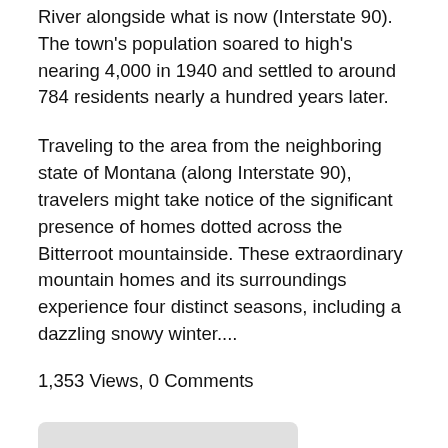River alongside what is now (Interstate 90). The town's population soared to high's nearing 4,000 in 1940 and settled to around 784 residents nearly a hundred years later.
Traveling to the area from the neighboring state of Montana (along Interstate 90), travelers might take notice of the significant presence of homes dotted across the Bitterroot mountainside. These extraordinary mountain homes and its surroundings experience four distinct seasons, including a dazzling snowy winter....
1,353 Views, 0 Comments
Read Full Post »